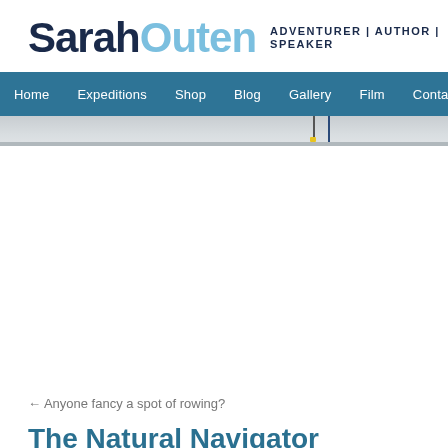SarahOuten ADVENTURER | AUTHOR | SPEAKER
Home  Expeditions  Shop  Blog  Gallery  Film  Contact
[Figure (photo): Partial hero image showing masts or poles against a grey sky/water background]
← Anyone fancy a spot of rowing?
The Natural Navigator